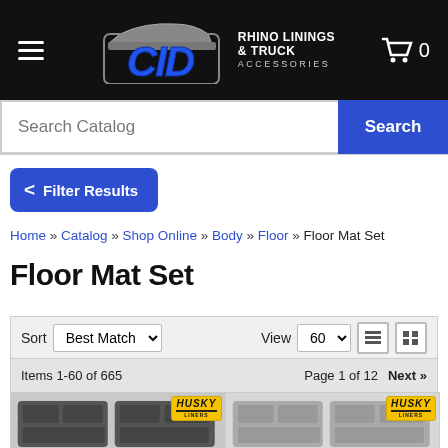[Figure (logo): CID Rhino Linings & Truck Accessories website header with hamburger menu, logo, and cart icon showing 0 items]
Search Catalog
Search
Filter Results
Home » Catalog » Shop Online » Body » Floor » Floor Mat Set
Floor Mat Set
Sort  Best Match ▾   View  60 ▾
Items 1-60 of 665    Page 1 of 12   Next »
[Figure (photo): Two Husky Liners floor mat sets shown in dark gray, with Husky Liners yellow badge logos]
[Figure (photo): Two Husky Liners floor mat sets shown in light gray, with Husky Liners yellow badge logos]